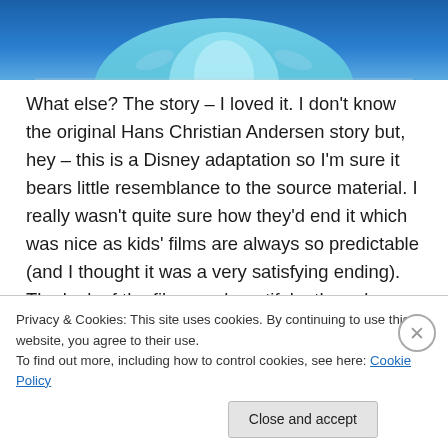[Figure (photo): Top portion of a Frozen/Disney character (Elsa) image with blue background and teal/icy dress visible]
What else? The story – I loved it. I don't know the original Hans Christian Andersen story but, hey – this is a Disney adaptation so I'm sure it bears little resemblance to the source material. I really wasn't quite sure how they'd end it which was nice as kids' films are always so predictable (and I thought it was a very satisfying ending). The look of the film was beautiful – the colors used & all that frozen snow & ice… I can see this being a film that families watch
Privacy & Cookies: This site uses cookies. By continuing to use this website, you agree to their use.
To find out more, including how to control cookies, see here: Cookie Policy
Close and accept